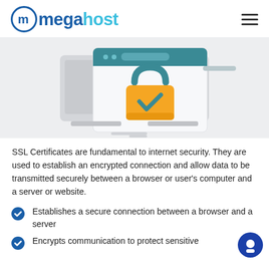megahost
[Figure (illustration): Browser window with a padlock icon featuring a yellow body with a teal shackle and a checkmark, set against a light gray background with shadowed laptop-like shapes.]
SSL Certificates are fundamental to internet security. They are used to establish an encrypted connection and allow data to be transmitted securely between a browser or user's computer and a server or website.
Establishes a secure connection between a browser and a server
Encrypts communication to protect sensitive